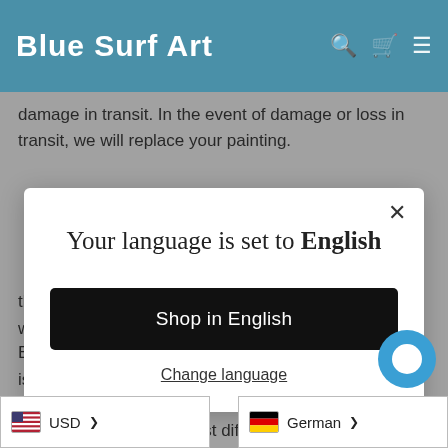Blue Surf Art
damage in transit. In the event of damage or loss in transit, we will replace your painting.
Your language is set to English
Shop in English
Change language
thoroughly to ensure it meets the high standards that we set ourselves.
Each painting Blue Surf Art offers is hand painted with slight variations in each piece strokes and coloring. Most differences are not noticeable